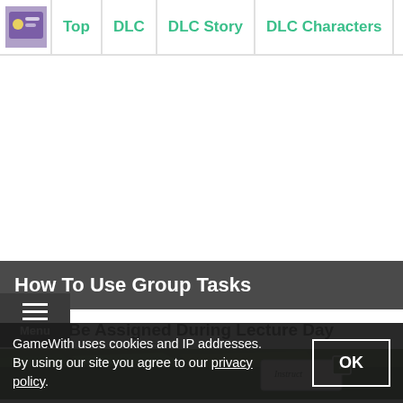Top | DLC | DLC Story | DLC Characters | Walkthrough
How To Use Group Tasks
Can Be Assigned During Lecture Day
[Figure (screenshot): In-game screenshot showing a green table/desk with what appears to be an Instruct card or item on it.]
GameWith uses cookies and IP addresses. By using our site you agree to our privacy policy.